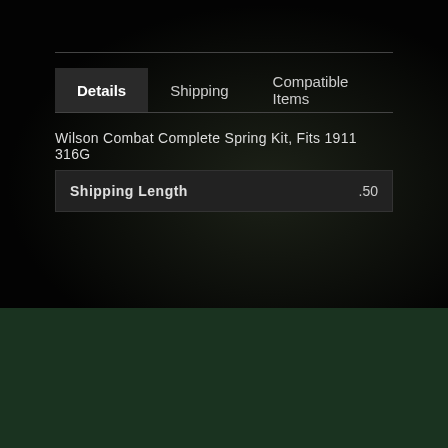[Figure (screenshot): Dark background with dim firearm/hands image visible behind content]
Details | Shipping | Compatible Items
Wilson Combat Complete Spring Kit, Fits 1911 316G
| Shipping Length | .50 |
| --- | --- |
SUPPORT